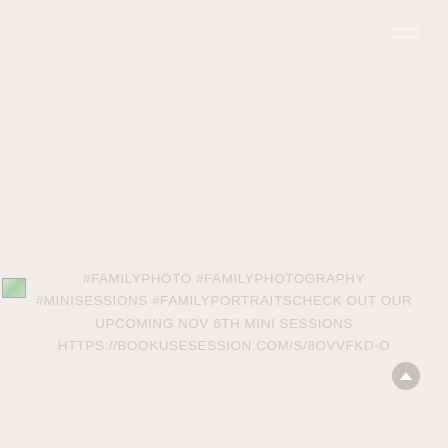[Figure (other): Hamburger menu icon (three horizontal white lines) in top-right corner]
[Figure (photo): Small broken/loading image icon at left side]
#FAMILYPHOTO #FAMILYPHOTOGRAPHY #MINISESSIONS #FAMILYPORTRAITSCHECK OUT OUR UPCOMING NOV 6TH MINI SESSIONS HTTPS://BOOKUSESESSION.COM/S/8OVVFKD-O